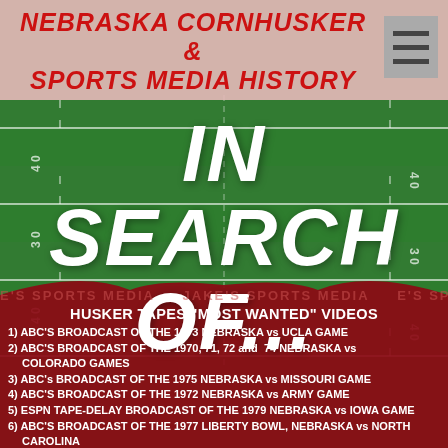NEBRASKA CORNHUSKER & SPORTS MEDIA HISTORY
IN SEARCH OF...
HUSKER TAPES "MOST WANTED" VIDEOS
1) ABC'S BROADCAST OF THE 1973 NEBRASKA vs UCLA GAME
2) ABC'S BROADCAST OF THE 1970, 71, 72 and  74 NEBRASKA vs COLORADO GAMES
3) ABC's BROADCAST OF THE 1975 NEBRASKA vs MISSOURI GAME
4) ABC'S BROADCAST OF THE 1972 NEBRASKA vs ARMY GAME
5) ESPN TAPE-DELAY BROADCAST OF THE 1979 NEBRASKA vs IOWA GAME
6) ABC'S BROADCAST OF THE 1977 LIBERTY BOWL, NEBRASKA vs NORTH CAROLINA
7) ABC'S BROADCAST OF THE 1977 NEBRASKA vs OKLAHOMA STATE GAME
8)  A complete, good quality game film of the 1970 NEBRASKA vs OKLAHOMA GAME